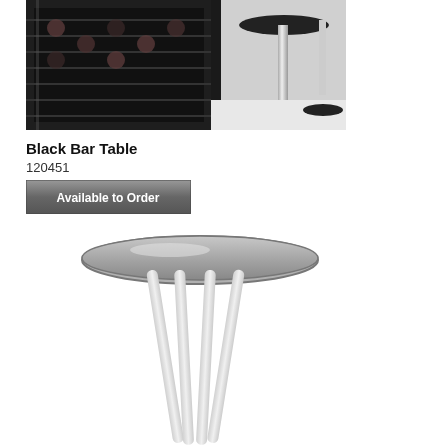[Figure (photo): Black bar table with wine rack cabinet and chrome bar stools]
Black Bar Table
120451
[Figure (other): Available to Order button graphic]
[Figure (photo): Round glass-top bar table with white metal legs]